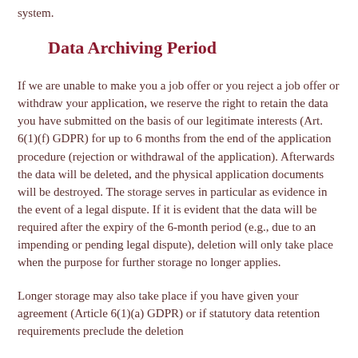system.
Data Archiving Period
If we are unable to make you a job offer or you reject a job offer or withdraw your application, we reserve the right to retain the data you have submitted on the basis of our legitimate interests (Art. 6(1)(f) GDPR) for up to 6 months from the end of the application procedure (rejection or withdrawal of the application). Afterwards the data will be deleted, and the physical application documents will be destroyed. The storage serves in particular as evidence in the event of a legal dispute. If it is evident that the data will be required after the expiry of the 6-month period (e.g., due to an impending or pending legal dispute), deletion will only take place when the purpose for further storage no longer applies.
Longer storage may also take place if you have given your agreement (Article 6(1)(a) GDPR) or if statutory data retention requirements preclude the deletion